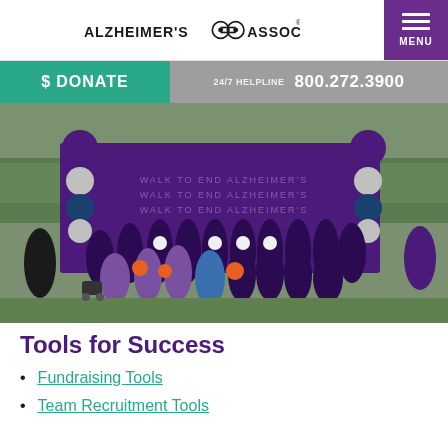ALZHEIMER'S ASSOCIATION® MENU
$ DONATE   24/7 HELPLINE  800.272.3900
[Figure (photo): Large group photo of participants at an Alzheimer's Association Walk to End Alzheimer's event, standing in front of a purple branded backdrop with large balloon arch columns in purple, white, and blue. People wearing purple jackets, some holding orange flower props. Taken outdoors in a park setting with trees in the background on an overcast day.]
Tools for Success
Fundraising Tools
Team Recruitment Tools